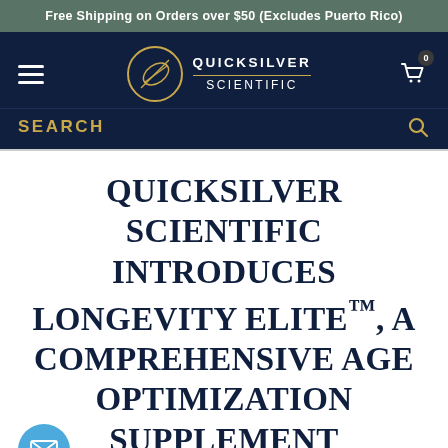Free Shipping on Orders over $50 (Excludes Puerto Rico)
[Figure (logo): Quicksilver Scientific logo with navigation bar including hamburger menu, circular gold leaf emblem, brand name, and shopping cart icon with badge showing 0]
QUICKSILVER SCIENTIFIC INTRODUCES LONGEVITY ELITE™, A COMPREHENSIVE AGE OPTIMIZATION SUPPLEMENT